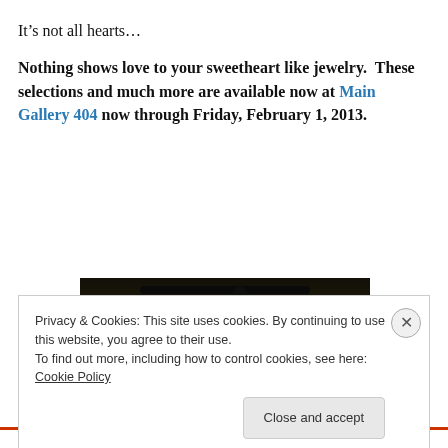It’s not all hearts…
Nothing shows love to your sweetheart like jewelry. These selections and much more are available now at Main Gallery 404 now through Friday, February 1, 2013.
[Figure (photo): Dark atmospheric photo showing what appears to be jewelry or metallic objects against a warm golden-brown bokeh background]
Privacy & Cookies: This site uses cookies. By continuing to use this website, you agree to their use.
To find out more, including how to control cookies, see here: Cookie Policy
Close and accept